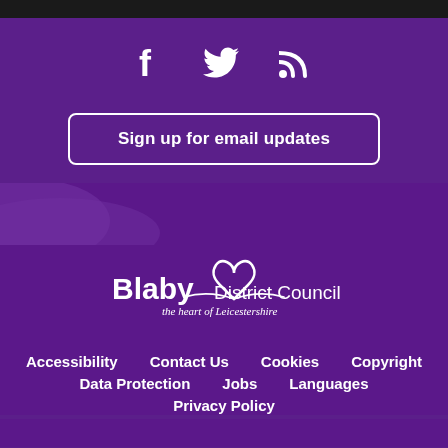[Figure (infographic): Social media icons: Facebook (f), Twitter (bird), RSS feed on dark purple background]
Sign up for email updates
[Figure (logo): Blaby District Council logo with heart motif and tagline 'the heart of Leicestershire']
Accessibility
Contact Us
Cookies
Copyright
Data Protection
Jobs
Languages
Privacy Policy